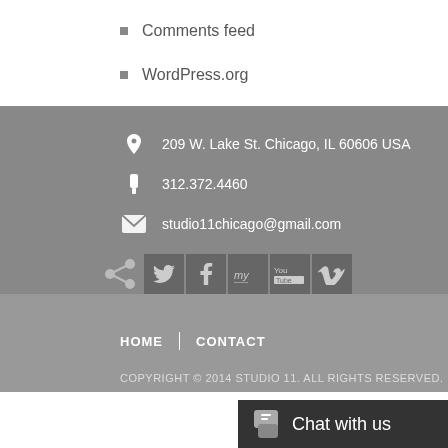Comments feed
WordPress.org
209 W. Lake St. Chicago, IL 60606 USA
312.372.4460
studio11chicago@gmail.com
[Figure (infographic): Social sharing icons: share, Twitter, Facebook, MySpace, YouTube, Vimeo]
HOME  |  CONTACT
COPYRIGHT © 2014 STUDIO 11. ALL RIGHTS RESERVED.
Chat with us